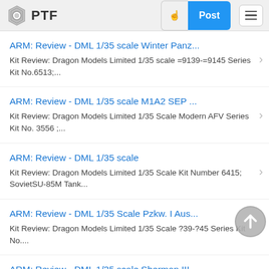PTF | Post
ARM: Review - DML 1/35 scale Winter Panz...
Kit Review: Dragon Models Limited 1/35 scale =9139-=9145 Series Kit No.6513;...
ARM: Review - DML 1/35 scale M1A2 SEP ...
Kit Review: Dragon Models Limited 1/35 Scale Modern AFV Series Kit No. 3556 ;...
ARM: Review - DML 1/35 scale
Kit Review: Dragon Models Limited 1/35 Scale Kit Number 6415; SovietSU-85M Tank...
ARM: Review - DML 1/35 Scale Pzkw. I Aus...
Kit Review: Dragon Models Limited 1/35 Scale ?39-?45 Series Kit No....
ARM: Review - DML 1/35 scale Sherman III ...
Kit Review: Dragon Models Limited 1/35 Scale ?39-?45 Kit Number 6573; S herman...